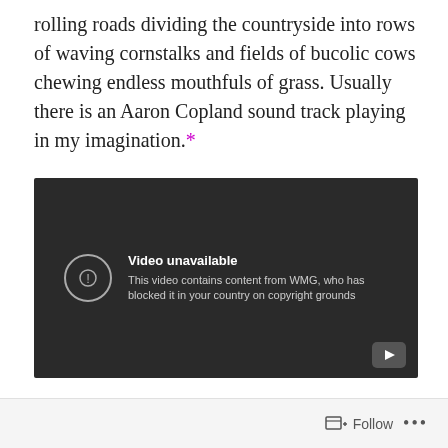rolling roads dividing the countryside into rows of waving cornstalks and fields of bucolic cows chewing endless mouthfuls of grass. Usually there is an Aaron Copland sound track playing in my imagination.*
[Figure (screenshot): Embedded video player showing 'Video unavailable' message: 'This video contains content from WMG, who has blocked it in your country on copyright grounds']
Follow ...